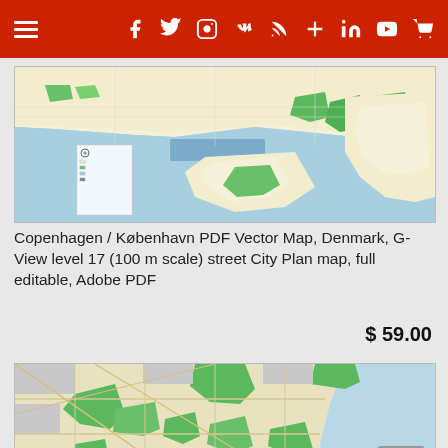Navigation header with menu icon and social/share icons: Facebook, Twitter, Instagram, VK, RSS, Cross, LinkedIn, YouTube, Cart
[Figure (map): Copenhagen / København city map showing coastline, streets, harbors, green parks and blue water bodies. Top portion of a vector PDF city plan map at 100m scale.]
Copenhagen / København PDF Vector Map, Denmark, G-View level 17 (100 m scale) street City Plan map, full editable, Adobe PDF
$ 59.00
[Figure (map): Second Copenhagen area map showing suburban streets, green parks and light blue water on the right side, with denser street network detail.]